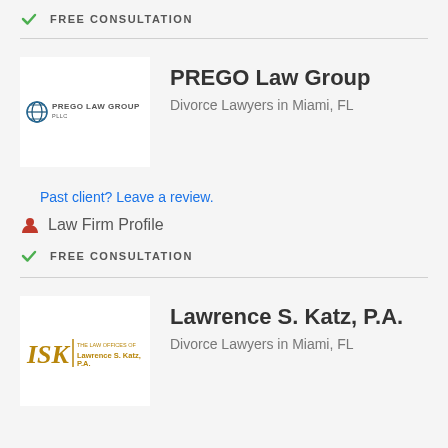FREE CONSULTATION
[Figure (logo): PREGO LAW GROUP PLLC logo with globe icon]
PREGO Law Group
Divorce Lawyers in Miami, FL
Past client? Leave a review.
Law Firm Profile
FREE CONSULTATION
[Figure (logo): LSK The Law Offices of Lawrence S. Katz, P.A. logo]
Lawrence S. Katz, P.A.
Divorce Lawyers in Miami, FL